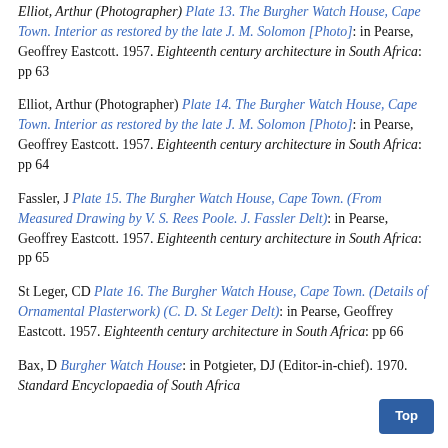Elliot, Arthur (Photographer) Plate 13. The Burgher Watch House, Cape Town. Interior as restored by the late J. M. Solomon [Photo]: in Pearse, Geoffrey Eastcott. 1957. Eighteenth century architecture in South Africa: pp 63
Elliot, Arthur (Photographer) Plate 14. The Burgher Watch House, Cape Town. Interior as restored by the late J. M. Solomon [Photo]: in Pearse, Geoffrey Eastcott. 1957. Eighteenth century architecture in South Africa: pp 64
Fassler, J Plate 15. The Burgher Watch House, Cape Town. (From Measured Drawing by V. S. Rees Poole. J. Fassler Delt): in Pearse, Geoffrey Eastcott. 1957. Eighteenth century architecture in South Africa: pp 65
St Leger, CD Plate 16. The Burgher Watch House, Cape Town. (Details of Ornamental Plasterwork) (C. D. St Leger Delt): in Pearse, Geoffrey Eastcott. 1957. Eighteenth century architecture in South Africa: pp 66
Bax, D Burgher Watch House: in Potgieter, DJ (Editor-in-chief). 1970. Standard Encyclopaedia of South Africa